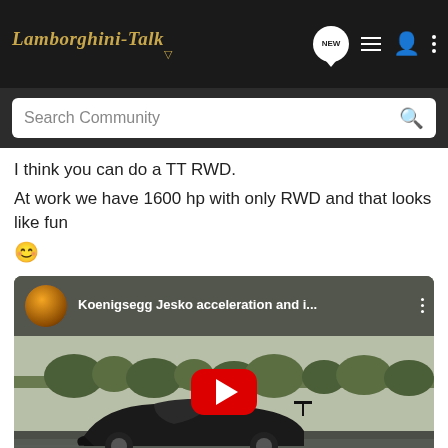Lamborghini-Talk — navigation bar with NEW, list, user, and menu icons
Search Community
I think you can do a TT RWD.
At work we have 1600 hp with only RWD and that looks like fun 😊
[Figure (screenshot): Embedded YouTube video thumbnail showing a Koenigsegg Jesko sports car driving on a road, with title 'Koenigsegg Jesko acceleration and i...' and a red play button in the center. A scroll-to-top button is in the lower right corner.]